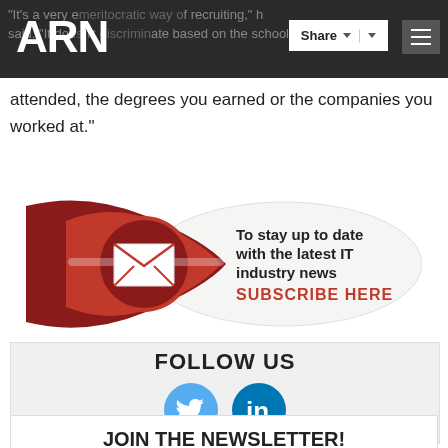ARN | Share | Menu
"It's a very e[meritocratic] way of recruiting," [he] said. "It do[esn't discrimin]ate based on the [schools you] attended, the degrees you earned or the companies you worked at."
[Figure (infographic): Subscribe banner with envelope icon and text: To stay up to date with the latest IT industry news SUBSCRIBE HERE]
[Figure (infographic): Follow Us section with Twitter and LinkedIn social media icons]
JOIN THE NEWSLETTER!
Email address | Join